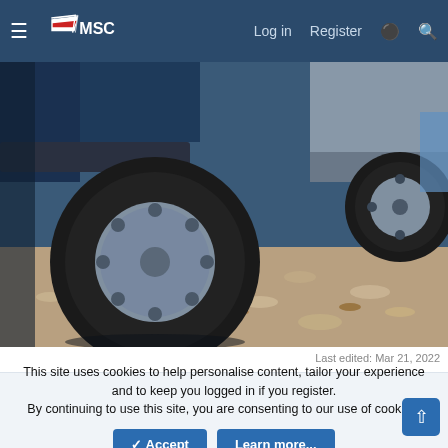MSC — Log in  Register
[Figure (photo): Close-up photograph of a car tire and wheel hub on a gravel/leaf-covered surface, with a second car visible in the background]
Last edited: Mar 21, 2022
This site uses cookies to help personalise content, tailor your experience and to keep you logged in if you register.
By continuing to use this site, you are consenting to our use of cookies.
✓ Accept   Learn more...